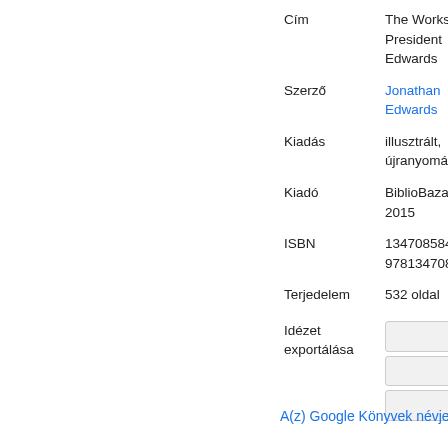| Label | Value |
| --- | --- |
| Cím | The Works of President Edwards |
| Szerző | Jonathan Edwards |
| Kiadás | illusztrált, újranyomás |
| Kiadó | BiblioBazaar, 2015 |
| ISBN | 134708584X, 9781347085843 |
| Terjedelem | 532 oldal |
| Idézet exportálása | BiBTeX / EndNote / RefMan |
A(z) Google Könyvek névjegy